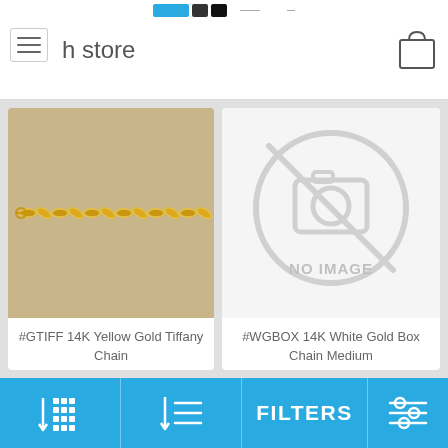h store
[Figure (photo): Product photo of a 14K Yellow Gold Tiffany Chain on beige background]
#GTIFF 14K Yellow Gold Tiffany Chain
Item #: GTIFF
$178.56
[Figure (illustration): No image placeholder with camera-slash icon and text NO IMAGE]
#WGBOX 14K White Gold Box Chain Medium
Item #: WGBOX
$333.00
FILTERS